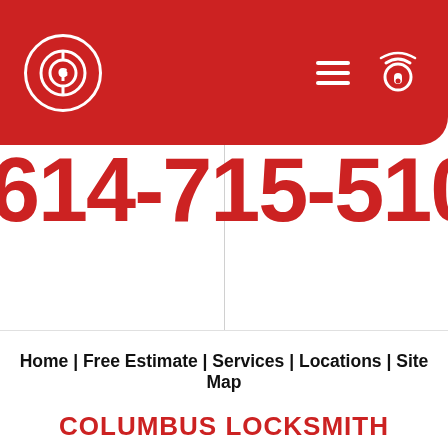[Figure (logo): Columbus Locksmith logo: circular lock icon with 'G' shape in white on red background header, with hamburger menu and phone icons]
614-715-5100 –
Home | Free Estimate | Services | Locations | Site Map
COLUMBUS LOCKSMITH
Phone: 614-715-5100 | Hours: Monday through Sunday, all day
Dispatch point: N Wall St, Columbus, OH 43215 [maps & reviews]